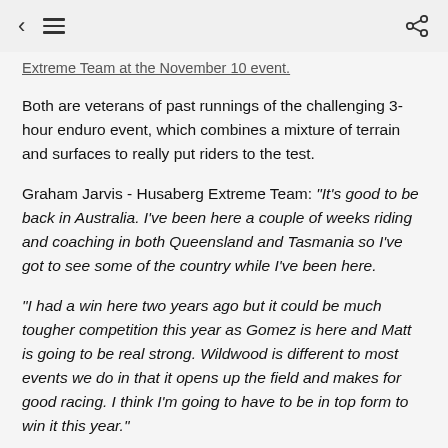< ≡  [share icon]
Extreme Team at the November 10 event.
Both are veterans of past runnings of the challenging 3-hour enduro event, which combines a mixture of terrain and surfaces to really put riders to the test.
Graham Jarvis - Husaberg Extreme Team: "It's good to be back in Australia. I've been here a couple of weeks riding and coaching in both Queensland and Tasmania so I've got to see some of the country while I've been here.
"I had a win here two years ago but it could be much tougher competition this year as Gomez is here and Matt is going to be real strong. Wildwood is different to most events we do in that it opens up the field and makes for good racing. I think I'm going to have to be in top form to win it this year."